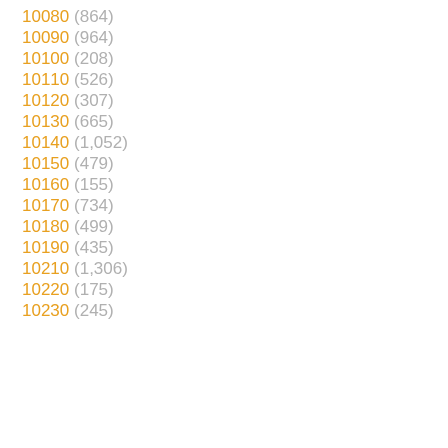10080 (864)
10090 (964)
10100 (208)
10110 (526)
10120 (307)
10130 (665)
10140 (1,052)
10150 (479)
10160 (155)
10170 (734)
10180 (499)
10190 (435)
10210 (1,306)
10220 (175)
10230 (245)